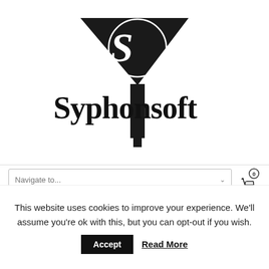[Figure (logo): Syphonsoft logo with funnel/filter graphic and bold serif text 'Syphonsoft']
Navigate to...
COUPON click here
If you need further help or development with your website, let me know and I can give you a quote for
This website uses cookies to improve your experience. We'll assume you're ok with this, but you can opt-out if you wish.
Accept
Read More